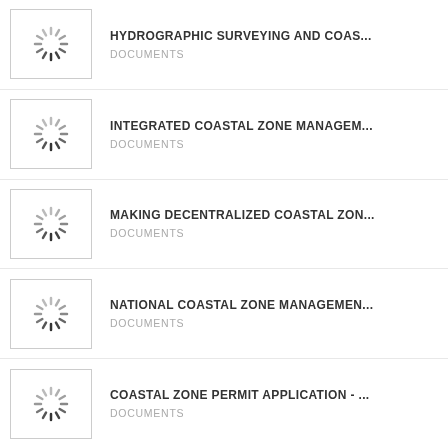HYDROGRAPHIC SURVEYING AND COAS...
DOCUMENTS
INTEGRATED COASTAL ZONE MANAGEM...
DOCUMENTS
MAKING DECENTRALIZED COASTAL ZON...
DOCUMENTS
NATIONAL COASTAL ZONE MANAGEMEN...
DOCUMENTS
COASTAL ZONE PERMIT APPLICATION - ...
DOCUMENTS